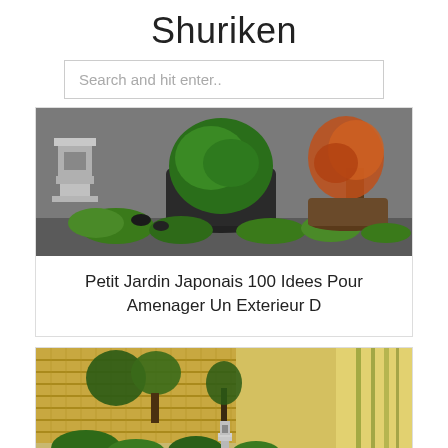Shuriken
Search and hit enter..
[Figure (photo): Japanese garden with stone lantern, rounded boxwood shrubs, large potted trees including a bonsai with autumn leaves, set against a grey wall]
Petit Jardin Japonais 100 Idees Pour Amenager Un Exterieur D
[Figure (photo): Japanese garden with bamboo reed fencing, stone lantern, gravel path, green shrubs and bamboo trees with sunlight filtering through]